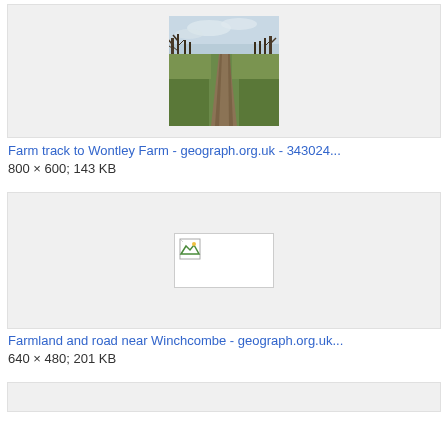[Figure (photo): Farm track leading to Wontley Farm, bordered by bare trees on both sides, dirt road with tyre tracks, overcast sky]
Farm track to Wontley Farm - geograph.org.uk - 343024...
800 × 600; 143 KB
[Figure (photo): Broken/unloaded image placeholder for Farmland and road near Winchcombe]
Farmland and road near Winchcombe - geograph.org.uk...
640 × 480; 201 KB